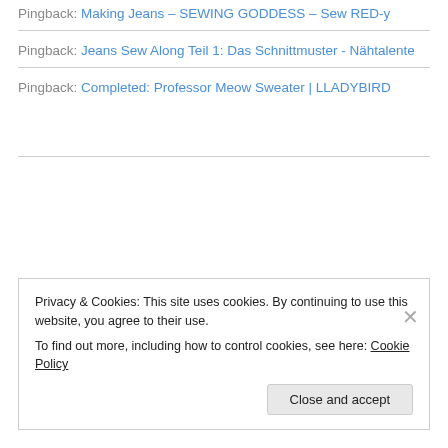Pingback: Making Jeans – SEWING GODDESS – Sew RED-y
Pingback: Jeans Sew Along Teil 1: Das Schnittmuster - Nähtalente
Pingback: Completed: Professor Meow Sweater | LLADYBIRD
Privacy & Cookies: This site uses cookies. By continuing to use this website, you agree to their use.
To find out more, including how to control cookies, see here: Cookie Policy